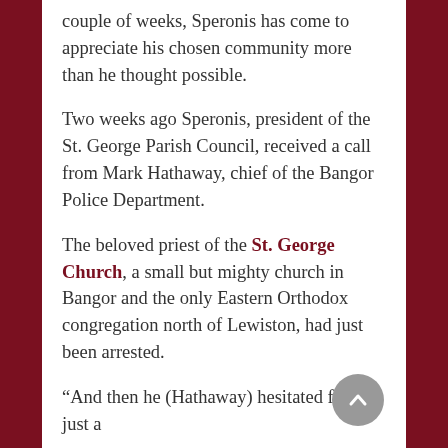couple of weeks, Speronis has come to appreciate his chosen community more than he thought possible.
Two weeks ago Speronis, president of the St. George Parish Council, received a call from Mark Hathaway, chief of the Bangor Police Department.
The beloved priest of the St. George Church, a small but mighty church in Bangor and the only Eastern Orthodox congregation north of Lewiston, had just been arrested.
“And then he (Hathaway) hesitated for a just a